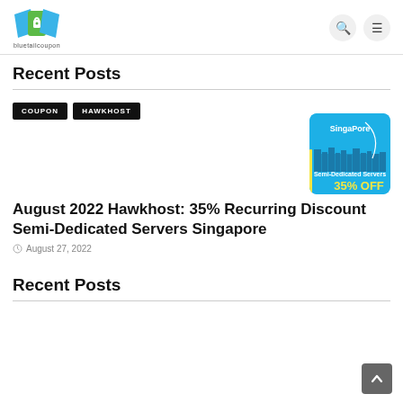bluetailcoupon
Recent Posts
COUPON  HAWKHOST
[Figure (illustration): Hawkhost Singapore Semi-Dedicated Servers 35% OFF promotional image with blue background and city skyline]
August 2022 Hawkhost: 35% Recurring Discount Semi-Dedicated Servers Singapore
August 27, 2022
Recent Posts